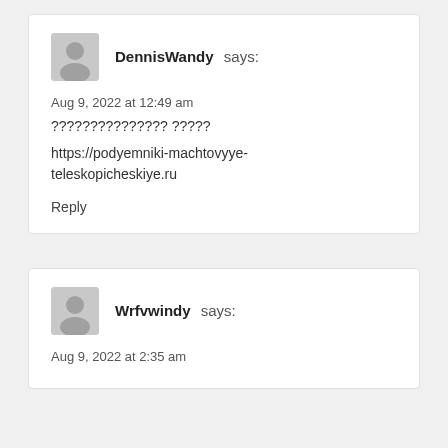DennisWandy says:
Aug 9, 2022 at 12:49 am
??????????????? ?????
https://podyemniki-machtovyye-teleskopicheskiye.ru
Reply
Wrfvwindy says:
Aug 9, 2022 at 2:35 am